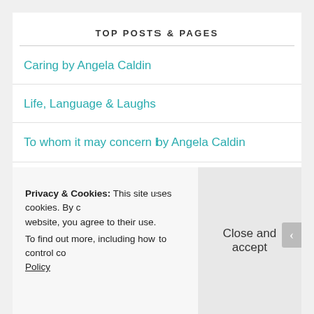TOP POSTS & PAGES
Caring by Angela Caldin
Life, Language & Laughs
To whom it may concern by Angela Caldin
When the Light Goes Off by Trevor Plumbly
Privacy & Cookies: This site uses cookies. By c website, you agree to their use.
To find out more, including how to control co Policy